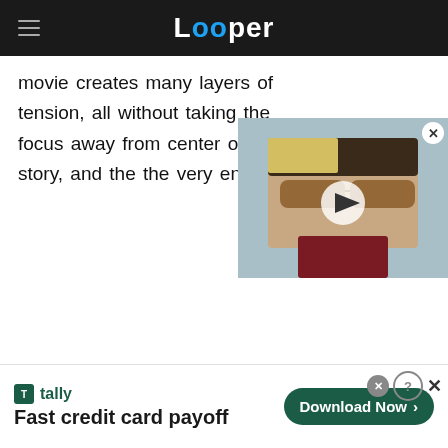Looper
movie creates many layers of tension, all without taking the focus away from center of the story, and the the very end.
[Figure (screenshot): Video thumbnail showing a man with sunglasses with a play button overlay, positioned as a floating video player in the top-right of the content area.]
[Figure (screenshot): Advertisement banner for Tally app: 'Fast credit card payoff' with a 'Download Now' button in dark green.]